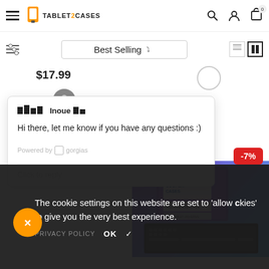TABLET2CASES — navigation header with hamburger menu, logo, search, account, and cart icons
Best Selling (sort dropdown)
$17.99
[Figure (screenshot): Chat popup from Gorgias showing agent 'Inoue' with message: Hi there, let me know if you have any questions :) — Powered by gorgias — Click to reply]
-7%
[Figure (photo): Tablet keyboard case product photo showing a Cooper Cases branded keyboard folio for a tablet]
The cookie settings on this website are set to 'allow cookies' to give you the very best experience.
PRIVACY POLICY  OK  ✓